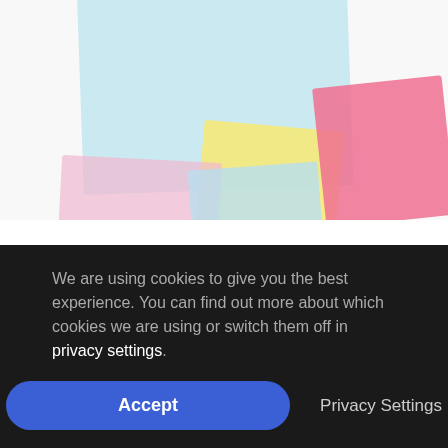[Figure (photo): Photo of colorful sticky notes (blue, yellow, pink, light blue) overlapping on a white surface, partially visible at the top of the page.]
By Andrew Foy, Director of AWP & Construction Excellence
O3 Solutions
There were a few key learnings from the excellent AWP + Lean Virtual Summit, hosted by Group ASI
We are using cookies to give you the best experience. You can find out more about which cookies we are using or switch them off in privacy settings.
Accept
Privacy Settings